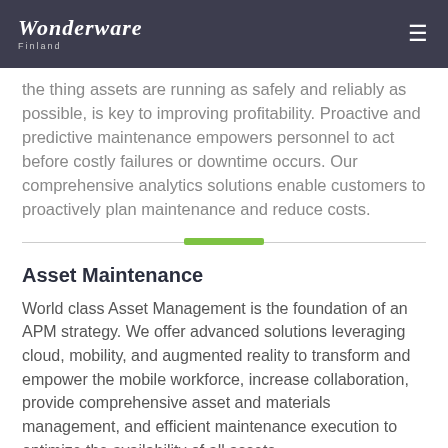Wonderware Finland
...knowing assets are running as safely and reliably as possible, is key to improving profitability. Proactive and predictive maintenance empowers personnel to act before costly failures or downtime occurs. Our comprehensive analytics solutions enable customers to proactively plan maintenance and reduce costs.
Asset Maintenance
World class Asset Management is the foundation of an APM strategy. We offer advanced solutions leveraging cloud, mobility, and augmented reality to transform and empower the mobile workforce, increase collaboration, provide comprehensive asset and materials management, and efficient maintenance execution to optimize the availability of all assets.